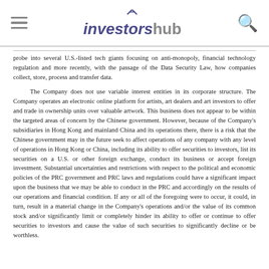investorshub
probe into several U.S.-listed tech giants focusing on anti-monopoly, financial technology regulation and more recently, with the passage of the Data Security Law, how companies collect, store, process and transfer data.
The Company does not use variable interest entities in its corporate structure. The Company operates an electronic online platform for artists, art dealers and art investors to offer and trade in ownership units over valuable artwork. This business does not appear to be within the targeted areas of concern by the Chinese government. However, because of the Company's subsidiaries in Hong Kong and mainland China and its operations there, there is a risk that the Chinese government may in the future seek to affect operations of any company with any level of operations in Hong Kong or China, including its ability to offer securities to investors, list its securities on a U.S. or other foreign exchange, conduct its business or accept foreign investment. Substantial uncertainties and restrictions with respect to the political and economic policies of the PRC government and PRC laws and regulations could have a significant impact upon the business that we may be able to conduct in the PRC and accordingly on the results of our operations and financial condition. If any or all of the foregoing were to occur, it could, in turn, result in a material change in the Company's operations and/or the value of its common stock and/or significantly limit or completely hinder its ability to offer or continue to offer securities to investors and cause the value of such securities to significantly decline or be worthless.